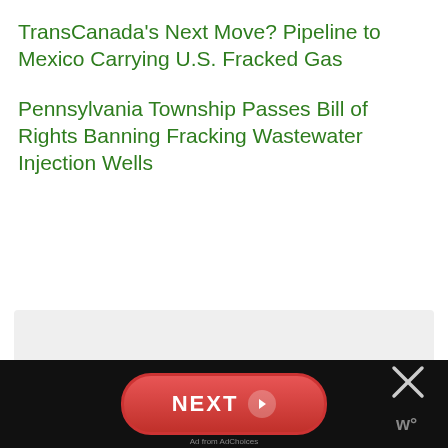TransCanada's Next Move? Pipeline to Mexico Carrying U.S. Fracked Gas
Pennsylvania Township Passes Bill of Rights Banning Fracking Wastewater Injection Wells
[Figure (other): Light gray placeholder box representing an advertisement or image area]
NEXT button navigation bar with close X button and wm logo